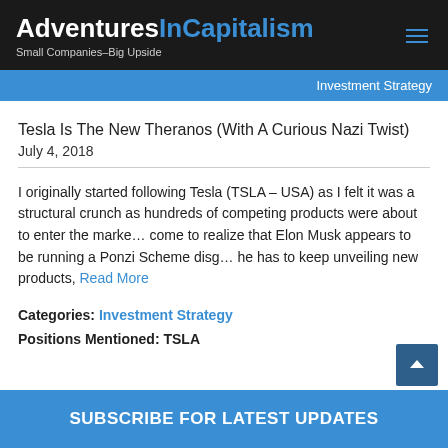AdventuresInCapitalism — Small Companies–Big Upside
Investment Strategy
Tesla Is The New Theranos (With A Curious Nazi Twist)
July 4, 2018
I originally started following Tesla (TSLA – USA) as I felt it was a structural crunch as hundreds of competing products were about to enter the market. I have come to realize that Elon Musk appears to be running a Ponzi Scheme disguised... he has to keep unveiling new products, Read More
Categories: Investment Strategy
Positions Mentioned: TSLA
SUBSCRIBE FOR LATEST UPDATES